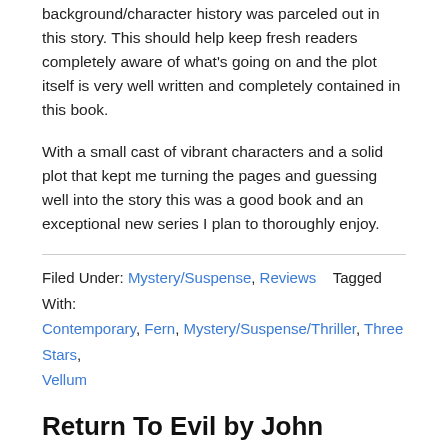background/character history was parceled out in this story. This should help keep fresh readers completely aware of what's going on and the plot itself is very well written and completely contained in this book.
With a small cast of vibrant characters and a solid plot that kept me turning the pages and guessing well into the story this was a good book and an exceptional new series I plan to thoroughly enjoy.
Filed Under: Mystery/Suspense, Reviews   Tagged With: Contemporary, Fern, Mystery/Suspense/Thriller, Three Stars, Vellum
Return To Evil by John Carson
July 12, 2022 By Long and Short Reviews   Leave a Comment
[Figure (illustration): Book cover for 'Return To Evil by John Carson' - A DCI Harry McNeil Novel with dark background, alongside three gold star rating and italic caption text 'Return To Evil by John']